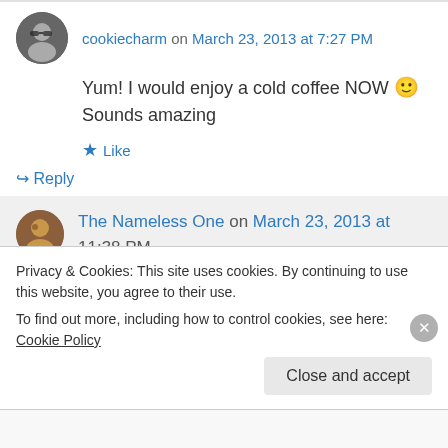cookiecharm on March 23, 2013 at 7:27 PM
Yum! I would enjoy a cold coffee NOW 🙂 Sounds amazing
★ Like
↪ Reply
The Nameless One on March 23, 2013 at
Privacy & Cookies: This site uses cookies. By continuing to use this website, you agree to their use.
To find out more, including how to control cookies, see here: Cookie Policy
Close and accept